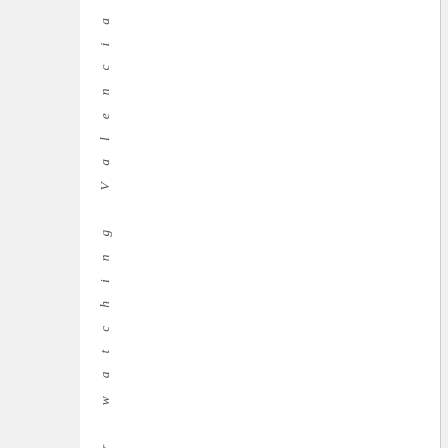s v e r y g o o d a f t e r w a t c h i n g V a l e n c i a